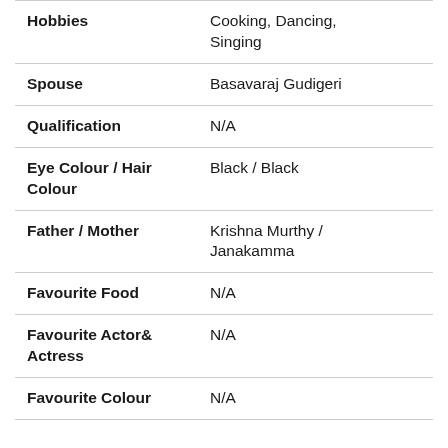| Field | Value |
| --- | --- |
| Hobbies | Cooking, Dancing, Singing |
| Spouse | Basavaraj Gudigeri |
| Qualification | N/A |
| Eye Colour / Hair Colour | Black / Black |
| Father / Mother | Krishna Murthy / Janakamma |
| Favourite Food | N/A |
| Favourite Actor& Actress | N/A |
| Favourite Colour | N/A |